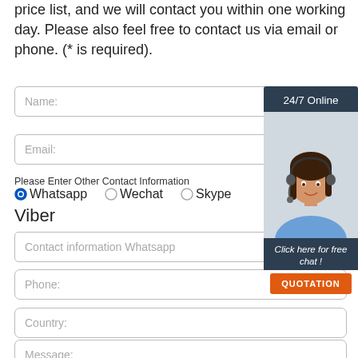price list, and we will contact you within one working day. Please also feel free to contact us via email or phone. (* is required).
[Figure (screenshot): Contact form with Name, Email, contact method radio buttons (Whatsapp selected, Wechat, Skype, Viber), Contact information Whatsapp field, Phone, Country, Message fields. Side widget with '24/7 Online' header, customer service photo, 'Click here for free chat!' text and orange QUOTATION button.]